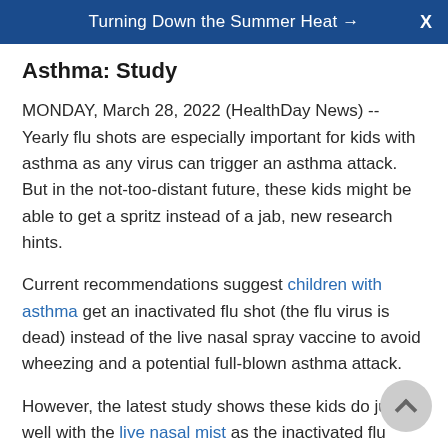Turning Down the Summer Heat →
Asthma: Study
MONDAY, March 28, 2022 (HealthDay News) -- Yearly flu shots are especially important for kids with asthma as any virus can trigger an asthma attack. But in the not-too-distant future, these kids might be able to get a spritz instead of a jab, new research hints.
Current recommendations suggest children with asthma get an inactivated flu shot (the flu virus is dead) instead of the live nasal spray vaccine to avoid wheezing and a potential full-blown asthma attack.
However, the latest study shows these kids do just as well with the live nasal mist as the inactivated flu shot, and most kids would gladly choose a nasal mist over a needle.